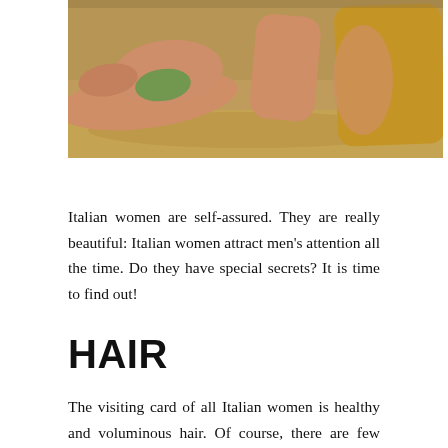[Figure (photo): Vintage photograph of people lounging on a beach — visible legs and torsos, one person in a green swimsuit, another in yellow clothing, sandy beach background.]
Italian women are self-assured. They are really beautiful: Italian women attract men's attention all the time. Do they have special secrets? It is time to find out!
HAIR
The visiting card of all Italian women is healthy and voluminous hair. Of course, there are few secrets from the local girls of beauty. First of all, Italian women always use almond and olive oils, especially for hair masks and treatment. Secondly, they wash hair every4-6 days with shampoo mixed with water. Thirdly, Italians don't use hair